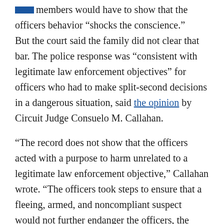family members would have to show that the officers behavior “shocks the conscience.”
But the court said the family did not clear that bar. The police response was “consistent with legitimate law enforcement objectives” for officers who had to make split-second decisions in a dangerous situation, said the opinion by Circuit Judge Consuelo M. Callahan.
“The record does not show that the officers acted with a purpose to harm unrelated to a legitimate law enforcement objective,” Callahan wrote. “The officers took steps to ensure that a fleeing, armed, and noncompliant suspect would not further endanger the officers, the home’s inhabitants, and the public.”
At the same time, the Robert family attorney would also